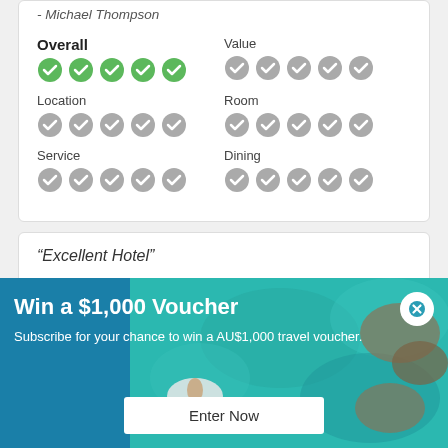- Michael Thompson
[Figure (infographic): Review ratings grid showing Overall (5 green filled circles), Value (5 grey filled circles), Location (5 grey filled circles), Room (5 grey filled circles), Service (5 grey filled circles), Dining (5 grey filled circles)]
“Excellent Hotel”
[Figure (photo): Popup overlay showing teal/blue background with aerial photo of person floating on inflatable ring in turquoise water with rocks. Contains title 'Win a $1,000 Voucher', subtitle text, close button, and Enter Now button.]